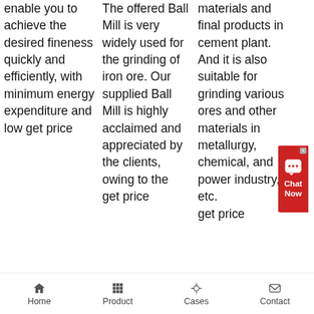enable you to achieve the desired fineness quickly and efficiently, with minimum energy expenditure and low get price
The offered Ball Mill is very widely used for the grinding of iron ore. Our supplied Ball Mill is highly acclaimed and appreciated by the clients, owing to the get price
materials and final products in cement plant. And it is also suitable for grinding various ores and other materials in metallurgy, chemical, and power industry, etc. get price
[Figure (photo): Outdoor industrial mining/crushing equipment on a dusty field with trees in the background and blue sky]
Home   Product   Cases   Contact